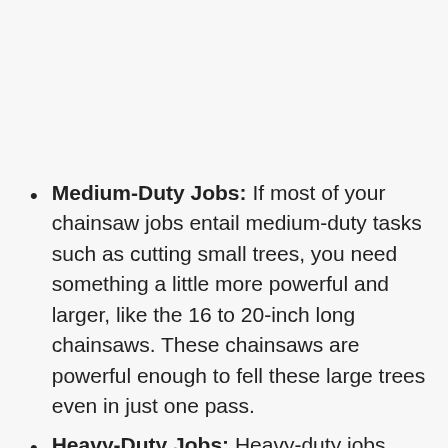Medium-Duty Jobs: If most of your chainsaw jobs entail medium-duty tasks such as cutting small trees, you need something a little more powerful and larger, like the 16 to 20-inch long chainsaws. These chainsaws are powerful enough to fell these large trees even in just one pass.
Heavy-Duty Jobs: Heavy-duty jobs such as felling massive trees is a job that is often best left to the professionals. However, if